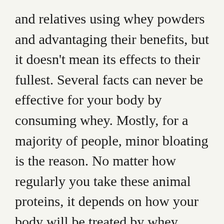and relatives using whey powders and advantaging their benefits, but it doesn't mean its effects to their fullest. Several facts can never be effective for your body by consuming whey. Mostly, for a majority of people, minor bloating is the reason. No matter how regularly you take these animal proteins, it depends on how your body will be treated by whey.
Whey is considered to be 90% milk protein as it's derived from dairy products; this allows some groups of people who don't want to consider